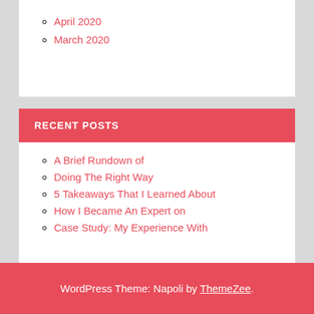April 2020
March 2020
RECENT POSTS
A Brief Rundown of
Doing The Right Way
5 Takeaways That I Learned About
How I Became An Expert on
Case Study: My Experience With
WordPress Theme: Napoli by ThemeZee.